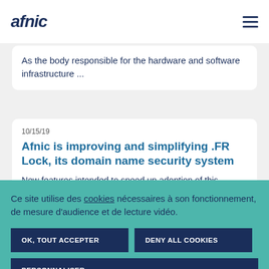afnic [logo] [hamburger menu]
As the body responsible for the hardware and software infrastructure ...
10/15/19
Afnic is improving and simplifying .FR Lock, its domain name security system
New features intended to speed up adoption of this system, the only one providing effective
Ce site utilise des cookies nécessaires à son fonctionnement, de mesure d'audience et de lecture vidéo.
OK, TOUT ACCEPTER
DENY ALL COOKIES
PERSONNALISER